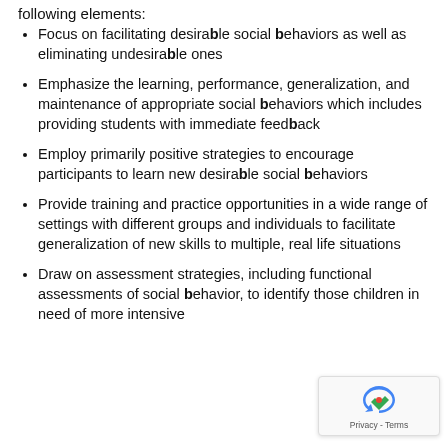following elements:
Focus on facilitating desirable social behaviors as well as eliminating undesirable ones
Emphasize the learning, performance, generalization, and maintenance of appropriate social behaviors which includes providing students with immediate feedback
Employ primarily positive strategies to encourage participants to learn new desirable social behaviors
Provide training and practice opportunities in a wide range of settings with different groups and individuals to facilitate generalization of new skills to multiple, real life situations
Draw on assessment strategies, including functional assessments of social behavior, to identify those children in need of more intensive